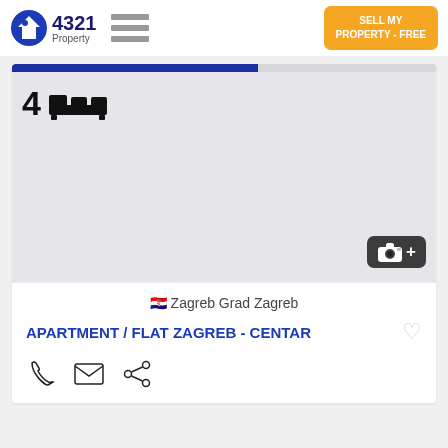4321 Property
[Figure (screenshot): Property listing image area showing bedroom count badge (4 bedrooms) with a bed icon, light grey placeholder image, and a camera+ icon badge at bottom right indicating more photos]
Zagreb Grad Zagreb
APARTMENT / FLAT ZAGREB - CENTAR
[Figure (infographic): Action icons row: phone, email, share]